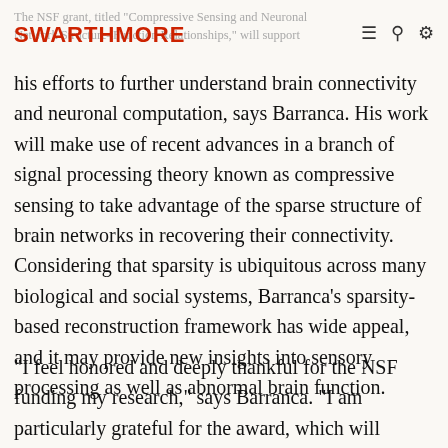SWARTHMORE | The NSF grant, titled "Compressive Sensing and Neuronal Network Structure–Function Relationships," will support
his efforts to further understand brain connectivity and neuronal computation, says Barranca. His work will make use of recent advances in a branch of signal processing theory known as compressive sensing to take advantage of the sparse structure of brain networks in recovering their connectivity. Considering that sparsity is ubiquitous across many biological and social systems, Barranca's sparsity-based reconstruction framework has wide appeal, and it may provide new insights into sensory processing as well as abnormal brain function.
"I feel honored and deeply thankful for the NSF funding my research," says Barranca. "I am particularly grateful for the award, which will promote significant advancements in my research program as well as integrate students into all